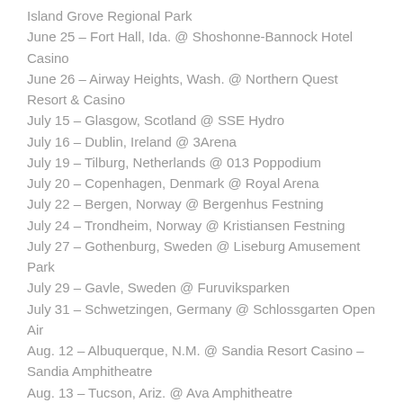Island Grove Regional Park
June 25 – Fort Hall, Ida. @ Shoshonne-Bannock Hotel Casino
June 26 – Airway Heights, Wash. @ Northern Quest Resort & Casino
July 15 – Glasgow, Scotland @ SSE Hydro
July 16 – Dublin, Ireland @ 3Arena
July 19 – Tilburg, Netherlands @ 013 Poppodium
July 20 – Copenhagen, Denmark @ Royal Arena
July 22 – Bergen, Norway @ Bergenhus Festning
July 24 – Trondheim, Norway @ Kristiansen Festning
July 27 – Gothenburg, Sweden @ Liseburg Amusement Park
July 29 – Gavle, Sweden @ Furuviksparken
July 31 – Schwetzingen, Germany @ Schlossgarten Open Air
Aug. 12 – Albuquerque, N.M. @ Sandia Resort Casino – Sandia Amphitheatre
Aug. 13 – Tucson, Ariz. @ Ava Amphitheatre
Aug. 18 – Murphys, Calif. @ Ironstone Amphitheatre
Aug. 19 – Irvine, Calif. @ FivePoint Amphitheatre
Aug. 20 – Temecula, Calif. @ Pechanga Resort Casino – Pechanga Summit
Aug. 24 – Put In Bay, Ohio @ Bash on the Bay Country Music